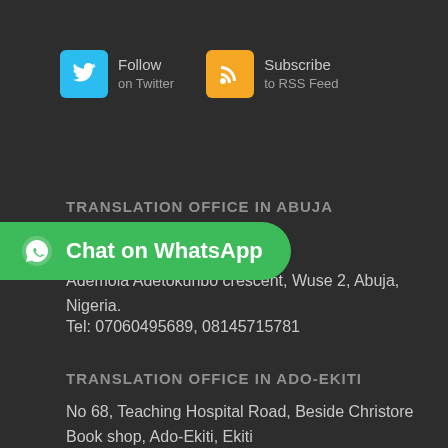[Figure (other): Twitter Follow button with blue bird icon and text 'Follow on Twitter']
[Figure (other): RSS Subscribe button with orange RSS icon and text 'Subscribe to RSS Feed']
[Figure (other): Green WhatsApp Chat button with WhatsApp icon and text 'Chat on WhatsApp']
TRANSLATION OFFICE IN ABUJA
Place, Plot 1140 No 16 Ademola Adetokunbo crescent, Wuse 2, Abuja, Nigeria.
Tel: 07060495689, 08145715781
TRANSLATION OFFICE IN ADO-EKITI
No 68, Teaching Hospital Road, Beside Christore Book shop, Ado-Ekiti, Ekiti
Tel: ...